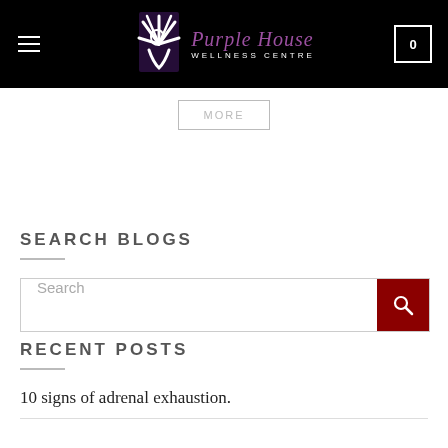[Figure (logo): Purple House Wellness Centre logo with stylized hand/sun icon in white on black header, purple cursive text 'Purple House' and white uppercase 'WELLNESS CENTRE']
MORE
SEARCH BLOGS
Search
RECENT POSTS
10 signs of adrenal exhaustion.